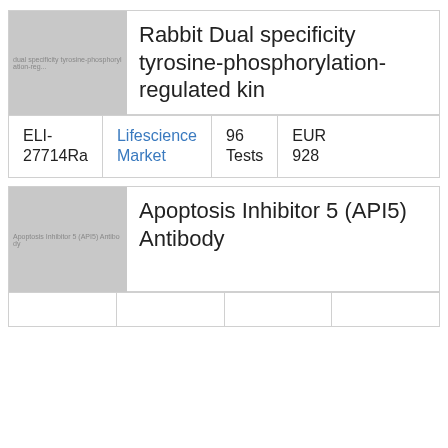[Figure (photo): Placeholder image for Rabbit Dual specificity tyrosine-phosphorylation-regulated kinase, grey box with text overlay]
Rabbit Dual specificity tyrosine-phosphorylation- regulated kin
| ID | Supplier | Quantity | Price |
| --- | --- | --- | --- |
| ELI-27714Ra | Lifescience Market | 96 Tests | EUR 928 |
[Figure (photo): Placeholder image for Apoptosis Inhibitor 5 (API5) Antibody, grey box with text overlay]
Apoptosis Inhibitor 5 (API5) Antibody